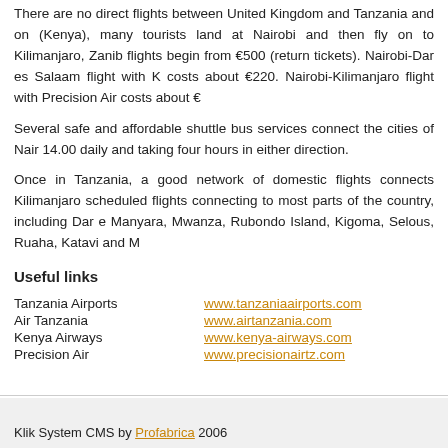There are no direct flights between United Kingdom and Tanzania and on (Kenya), many tourists land at Nairobi and then fly on to Kilimanjaro, Zanib flights begin from €500 (return tickets). Nairobi-Dar es Salaam flight with K costs about €220. Nairobi-Kilimanjaro flight with Precision Air costs about €
Several safe and affordable shuttle bus services connect the cities of Nair 14.00 daily and taking four hours in either direction.
Once in Tanzania, a good network of domestic flights connects Kilimanjaro scheduled flights connecting to most parts of the country, including Dar e Manyara, Mwanza, Rubondo Island, Kigoma, Selous, Ruaha, Katavi and M
Useful links
|  |  |
| --- | --- |
| Tanzania Airports | www.tanzaniaairports.com |
| Air Tanzania | www.airtanzania.com |
| Kenya Airways | www.kenya-airways.com |
| Precision Air | www.precisionairtz.com |
Klik System CMS by Profabrica 2006